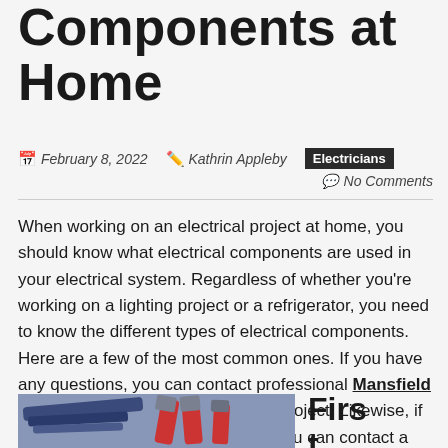Components at Home
February 8, 2022   Kathrin Appleby   Electricians   No Comments
When working on an electrical project at home, you should know what electrical components are used in your electrical system. Regardless of whether you're working on a lighting project or a refrigerator, you need to know the different types of electrical components. Here are a few of the most common ones. If you have any questions, you can contact professional Mansfield Electricians to help you with your project. Likewise, if you have any electrical problems, you can contact a local electrician for help.
[Figure (photo): Photo of electrical tools including pliers and wire on a surface]
First,